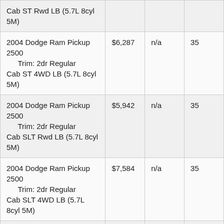| Cab ST Rwd LB (5.7L 8cyl 5M) |  |  |  |
| 2004 Dodge Ram Pickup 2500
    Trim: 2dr Regular Cab ST 4WD LB (5.7L 8cyl 5M) | $6,287 | n/a | 35 |
| 2004 Dodge Ram Pickup 2500
    Trim: 2dr Regular Cab SLT Rwd LB (5.7L 8cyl 5M) | $5,942 | n/a | 35 |
| 2004 Dodge Ram Pickup 2500
    Trim: 2dr Regular Cab SLT 4WD LB (5.7L 8cyl 5M) | $7,584 | n/a | 35 |
|  |  |  |  |